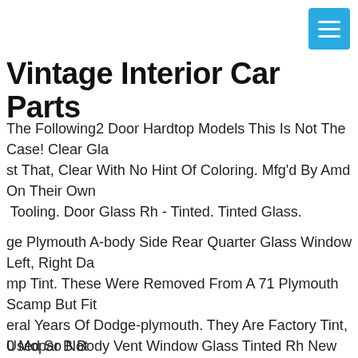[Figure (other): Hamburger menu button icon (three horizontal lines on teal/blue square background)]
Vintage Interior Car Parts
The Following2 Door Hardtop Models This Is Not The Case! Clear Glass Is Just That, Clear With No Hint Of Coloring. Mfg'd By Amd On Their Own New Tooling. Door Glass Rh - Tinted. Tinted Glass.
ge Plymouth A-body Side Rear Quarter Glass Window Left, Right Damp Tint. These Were Removed From A 71 Plymouth Scamp But Fit eral Years Of Dodge-plymouth. They Are Factory Tint, Used So Not ect But In Pretty Good Condition.
0 Mopar B Body Vent Window Glass Tinted Rh New Amd. Vent Windows Rh - Tinted. This Is Not The Case! Clear Glass Is Just That, Clear With No Hint Of Coloring. Mfg'd By Amd On Their Own New Tooling. Tinted Glass. Rh - Passenger Side. 67 F-body Conv't Windshield Window Vent Rear Quarter Glass Kit - Tinted Amd.